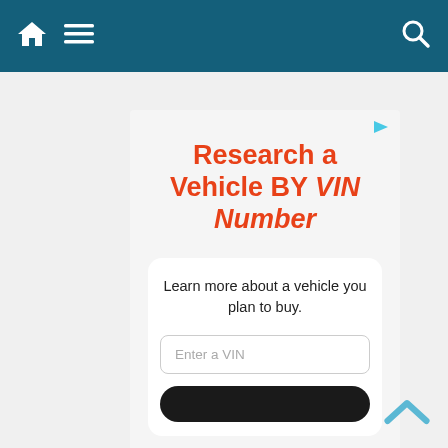Navigation bar with home, menu, and search icons
[Figure (screenshot): Advertisement card for VIN number vehicle research tool. Contains headline 'Research a Vehicle BY VIN Number' in bold orange text, a white inner card with text 'Learn more about a vehicle you plan to buy.' and an 'Enter a VIN' input field, and a dark submit button at the bottom.]
Research a Vehicle BY VIN Number
Learn more about a vehicle you plan to buy.